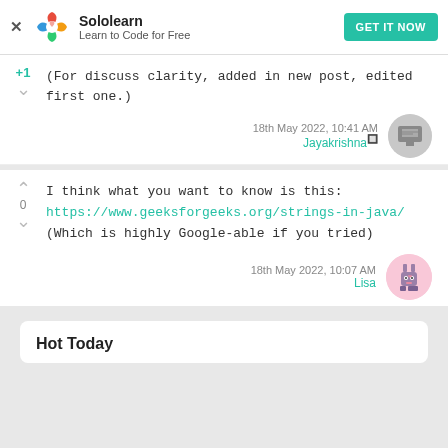Sololearn — Learn to Code for Free — GET IT NOW
(For discuss clarity, added in new post, edited first one.)
18th May 2022, 10:41 AM
Jayakrishna
I think what you want to know is this:
https://www.geeksforgeeks.org/strings-in-java/
(Which is highly Google-able if you tried)
18th May 2022, 10:07 AM
Lisa
Hot Today